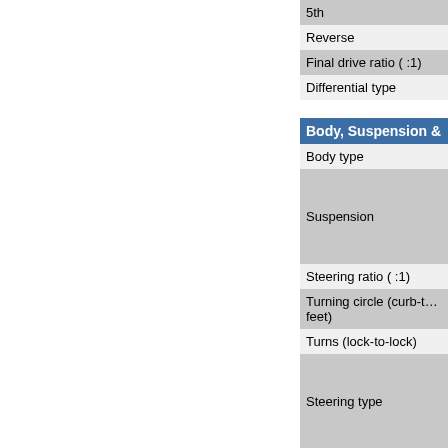| 5th |
| Reverse |
| Final drive ratio ( :1) |
| Differential type |
| Body, Suspension & |
| Body type |
| Suspension |
| Steering ratio ( :1) |
| Turning circle (curb-t… feet) |
| Turns (lock-to-lock) |
| Steering type |
| Brakes |